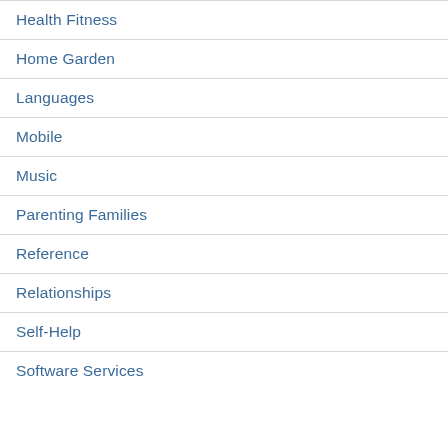Health Fitness
Home Garden
Languages
Mobile
Music
Parenting Families
Reference
Relationships
Self-Help
Software Services